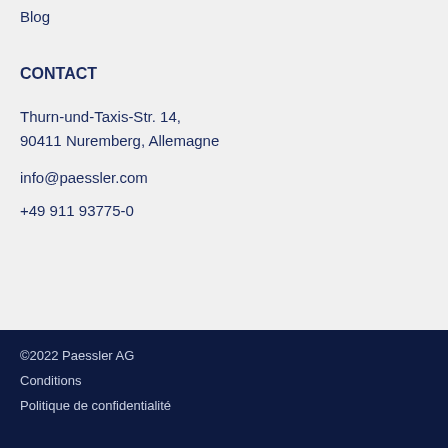Blog
CONTACT
Thurn-und-Taxis-Str. 14,
90411 Nuremberg, Allemagne
info@paessler.com
+49 911 93775-0
©2022 Paessler AG
Conditions
Politique de confidentialité